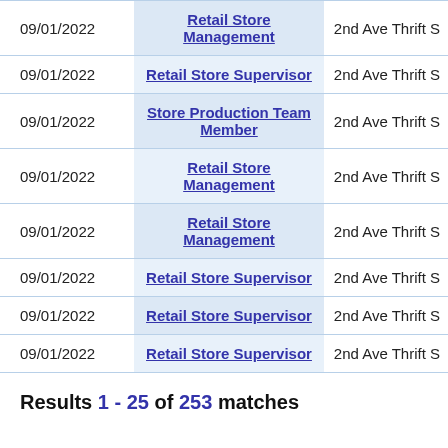| Date | Position | Employer |
| --- | --- | --- |
| 09/01/2022 | Retail Store Management | 2nd Ave Thrift S |
| 09/01/2022 | Retail Store Supervisor | 2nd Ave Thrift S |
| 09/01/2022 | Store Production Team Member | 2nd Ave Thrift S |
| 09/01/2022 | Retail Store Management | 2nd Ave Thrift S |
| 09/01/2022 | Retail Store Management | 2nd Ave Thrift S |
| 09/01/2022 | Retail Store Supervisor | 2nd Ave Thrift S |
| 09/01/2022 | Retail Store Supervisor | 2nd Ave Thrift S |
| 09/01/2022 | Retail Store Supervisor | 2nd Ave Thrift S |
Results 1 - 25 of 253 matches